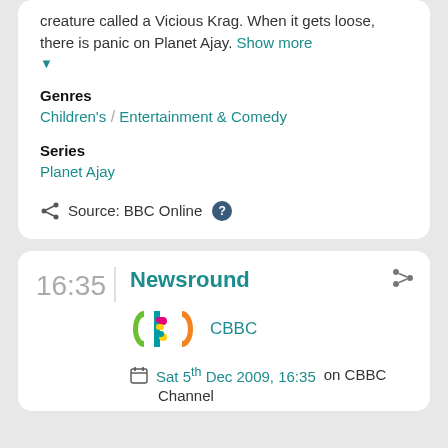creature called a Vicious Krag. When it gets loose, there is panic on Planet Ajay. Show more
Genres
Children's / Entertainment & Comedy
Series
Planet Ajay
Source: BBC Online
16:35
Newsround
[Figure (logo): CBBC channel logo with colourful letters]
CBBC
Sat 5th Dec 2009, 16:35 on CBBC Channel